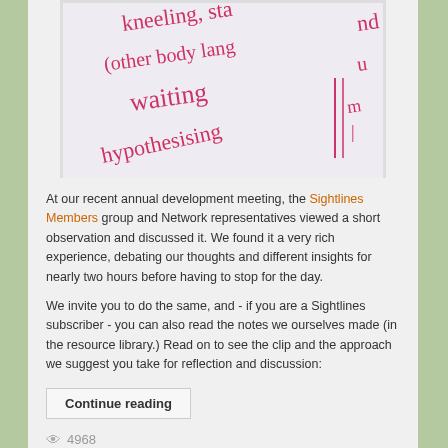[Figure (photo): Handwritten notes on paper in red/pink ink showing words: kneeling, standing, (other body language), waiting, hypothesising]
At our recent annual development meeting, the Sightlines Members group and Network representatives viewed a short observation and discussed it. We found it a very rich experience, debating our thoughts and different insights for nearly two hours before having to stop for the day.
We invite you to do the same, and - if you are a Sightlines subscriber - you can also read the notes we ourselves made (in the resource library.) Read on to see the clip and the approach we suggest you take for reflection and discussion:
Continue reading
4968